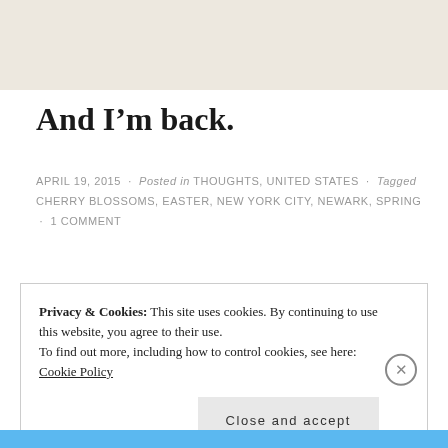[Figure (other): Beige/tan colored header banner area at top of blog page]
And I'm back.
APRIL 19, 2015 · Posted in THOUGHTS, UNITED STATES · Tagged CHERRY BLOSSOMS, EASTER, NEW YORK CITY, NEWARK, SPRING · 1 COMMENT
Privacy & Cookies: This site uses cookies. By continuing to use this website, you agree to their use.
To find out more, including how to control cookies, see here:
Cookie Policy
Close and accept